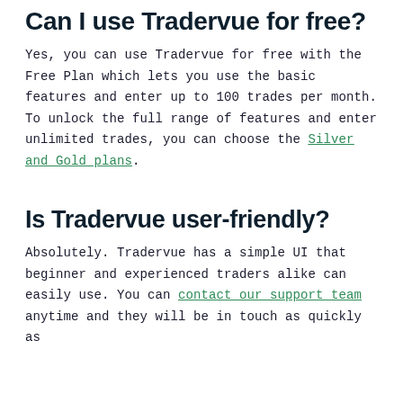Can I use Tradervue for free?
Yes, you can use Tradervue for free with the Free Plan which lets you use the basic features and enter up to 100 trades per month. To unlock the full range of features and enter unlimited trades, you can choose the Silver and Gold plans.
Is Tradervue user-friendly?
Absolutely. Tradervue has a simple UI that beginner and experienced traders alike can easily use. You can contact our support team anytime and they will be in touch as quickly as